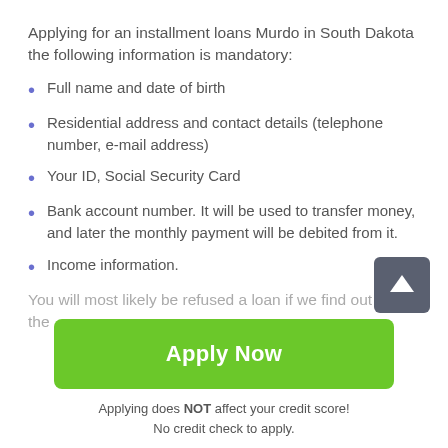Applying for an installment loans Murdo in South Dakota the following information is mandatory:
Full name and date of birth
Residential address and contact details (telephone number, e-mail address)
Your ID, Social Security Card
Bank account number. It will be used to transfer money, and later the monthly payment will be debited from it.
Income information.
You will most likely be refused a loan if we find out that the
[Figure (other): Scroll-to-top button — dark grey rounded square with white upward arrow]
Apply Now
Applying does NOT affect your credit score!
No credit check to apply.